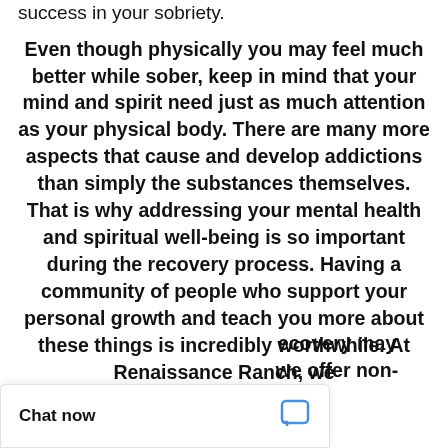success in your sobriety.
Even though physically you may feel much better while sober, keep in mind that your mind and spirit need just as much attention as your physical body. There are many more aspects that cause and develop addictions than simply the substances themselves. That is why addressing your mental health and spiritual well-being is so important during the recovery process. Having a community of people who support your personal growth and teach you more about these things is incredibly worthwhile. At Renaissance Ranch, we … recovery may … we offer non-